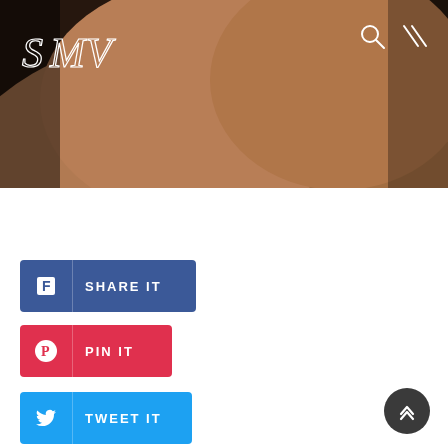[Figure (photo): Close-up photo of human skin/arm with dark brown tones, used as hero banner image]
[Figure (logo): SMV logo in white thin-stroke lettering at top-left of hero image]
[Figure (infographic): Search icon (magnifying glass) and menu (double slash) icons at top-right of hero image]
[Figure (infographic): Facebook 'SHARE IT' button — blue rectangle with Facebook icon and text]
[Figure (infographic): Pinterest 'PIN IT' button — red rectangle with Pinterest icon and text]
[Figure (infographic): Twitter 'TWEET IT' button — blue rectangle with Twitter bird icon and text]
[Figure (infographic): Back-to-top circular dark button with chevron up icons, bottom-right]